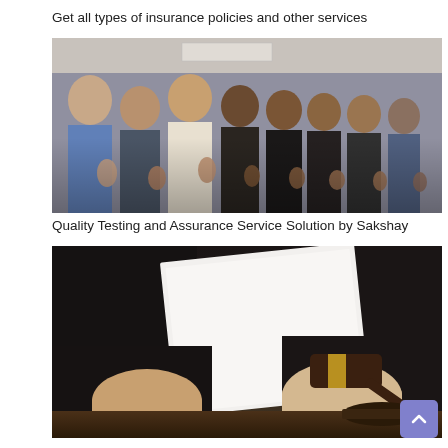Get all types of insurance policies and other services
[Figure (photo): Group of people smiling and giving thumbs up in an office setting]
Quality Testing and Assurance Service Solution by Sakshay
[Figure (photo): Person in black robe holding a document over a judge's gavel on a wooden surface]